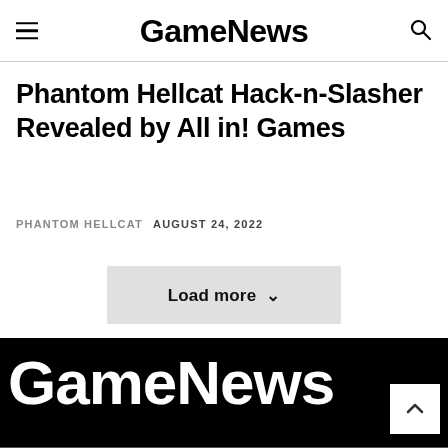GameNews
Phantom Hellcat Hack-n-Slasher Revealed by All in! Games
PHANTOM HELLCAT   AUGUST 24, 2022
Load more
GameNews